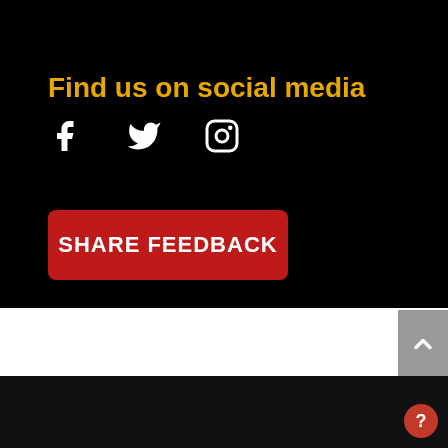Find us on social media
[Figure (illustration): Social media icons: Facebook (f), Twitter (bird), Instagram (camera)]
SHARE FEEDBACK
About   Nonprofits: Get Help   Our Impact   Donate   Contact